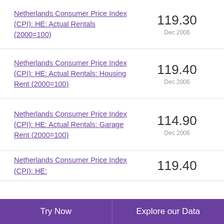Netherlands Consumer Price Index (CPI): HE: Actual Rentals (2000=100) — 119.30, Dec 2006
Netherlands Consumer Price Index (CPI): HE: Actual Rentals: Housing Rent (2000=100) — 119.40, Dec 2006
Netherlands Consumer Price Index (CPI): HE: Actual Rentals: Garage Rent (2000=100) — 114.90, Dec 2006
Netherlands Consumer Price Index (CPI): HE: — 119.40
Try Now | Explore our Data